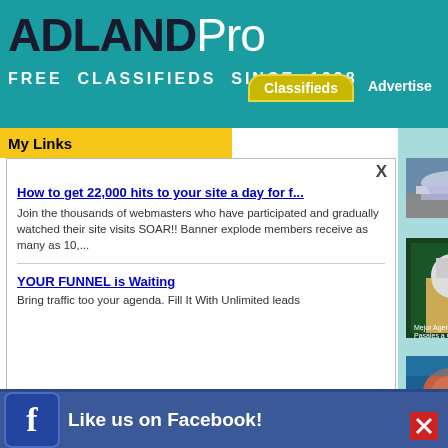ADLANDPro - FREE CLASSIFIEDS SINCE 1998
My Links
How to get 22,000 hits to your site a day for f...
Join the thousands of webmasters who have participated and gradually watched their site visits SOAR!! Banner explode members receive as many as 10,...
YOUR FUNNEL is Waiting
Bring traffic too your agenda. Fill It With Unlimited leads
¿Cómo encontrar la me
City: Leehigh A  Category: Services  Date: 8/1/2022  Description: Cuba es vibrante y viajeros d se p...
Diving in Saba
City: Longwoo  Category: Services  Date: 7/29/202  Description: Stunning the water else in th
Cheapfaremart Promo C
City: GreenCo  Category: Services  Date: 7/28/202  Description: Claim fina online on
Category: Services  Date: 8/8/2022  Description: Explorers reservation so. This h
Like us on Facebook!